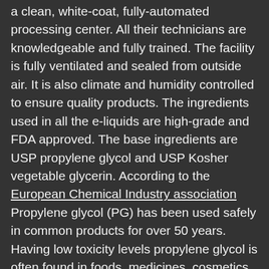a clean, white-coat, fully-automated processing center. All their technicians are knowledgeable and fully trained. The facility is fully ventilated and sealed from outside air. It is also climate and humidity controlled to ensure quality products. The ingredients used in all the e-liquids are high-grade and FDA approved. The base ingredients are USP propylene glycol and USP Kosher vegetable glycerin. According to the European Chemical Industry association Propylene glycol (PG) has been used safely in common products for over 50 years. Having low toxicity levels propylene glycol is often found in foods, medicines, cosmetics and other household items.